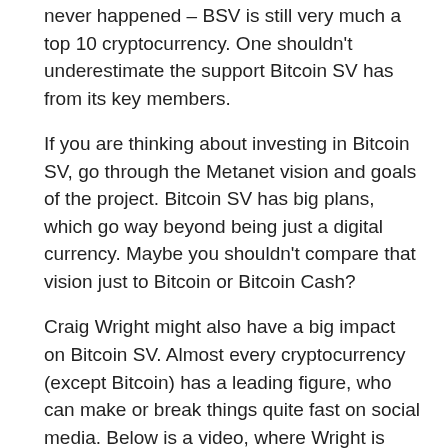never happened – BSV is still very much a top 10 cryptocurrency. One shouldn't underestimate the support Bitcoin SV has from its key members.
If you are thinking about investing in Bitcoin SV, go through the Metanet vision and goals of the project. Bitcoin SV has big plans, which go way beyond being just a digital currency. Maybe you shouldn't compare that vision just to Bitcoin or Bitcoin Cash?
Craig Wright might also have a big impact on Bitcoin SV. Almost every cryptocurrency (except Bitcoin) has a leading figure, who can make or break things quite fast on social media. Below is a video, where Wright is talking about BSV goals in the business world.
Real-time price of Bitcoin SV: